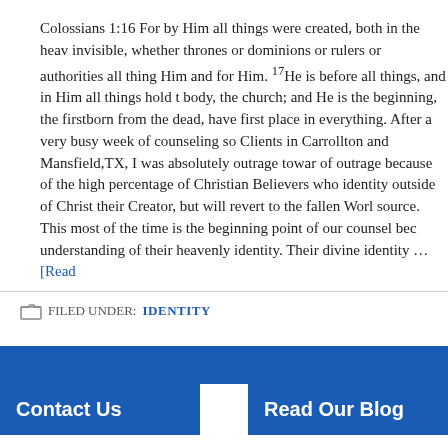Colossians 1:16 For by Him all things were created, both in the heav invisible, whether thrones or dominions or rulers or authorities all thing Him and for Him. 17He is before all things, and in Him all things hold t body, the church; and He is the beginning, the firstborn from the dead, have first place in everything. After a very busy week of counseling so Clients in Carrollton and Mansfield,TX, I was absolutely outrage towar of outrage because of the high percentage of Christian Believers who identity outside of Christ their Creator, but will revert to the fallen Worl source. This most of the time is the beginning point of our counsel bec understanding of their heavenly identity. Their divine identity … [Read
FILED UNDER: IDENTITY
Contact Us
Read Our Blog
2340 E. Trinity Mills Road
Ste 300
Carrollton, Texas 75006
Fear
Inheritance